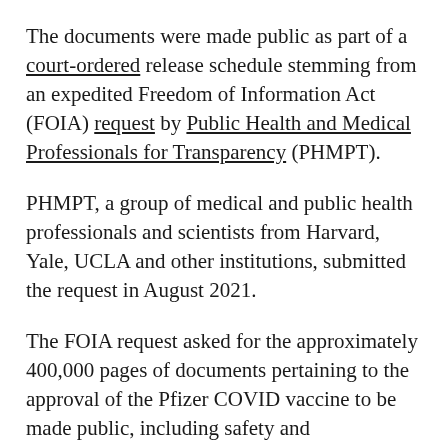The documents were made public as part of a court-ordered release schedule stemming from an expedited Freedom of Information Act (FOIA) request by Public Health and Medical Professionals for Transparency (PHMPT).
PHMPT, a group of medical and public health professionals and scientists from Harvard, Yale, UCLA and other institutions, submitted the request in August 2021.
The FOIA request asked for the approximately 400,000 pages of documents pertaining to the approval of the Pfizer COVID vaccine to be made public, including safety and effectiveness data,